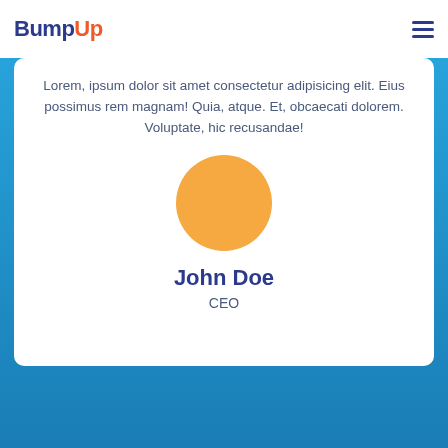BumpUp
Lorem, ipsum dolor sit amet consectetur adipisicing elit. Eius possimus rem magnam! Quia, atque. Et, obcaecati dolorem. Voluptate, hic recusandae!
[Figure (illustration): Circular avatar placeholder in golden/orange color representing a profile photo]
John Doe
CEO